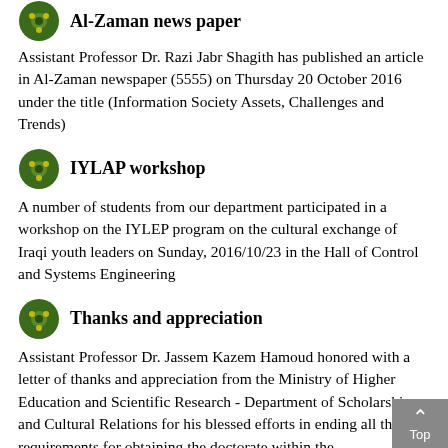Assistant Professor Dr. Razi Jabr Shagith has published an article in Al-Zaman newspaper (5555) on Thursday 20 October 2016 under the title (Information Society Assets, Challenges and Trends)
IYLAP workshop
A number of students from our department participated in a workshop on the IYLEP program on the cultural exchange of Iraqi youth leaders on Sunday, 2016/10/23 in the Hall of Control and Systems Engineering
Thanks and appreciation
Assistant Professor Dr. Jassem Kazem Hamoud honored with a letter of thanks and appreciation from the Ministry of Higher Education and Scientific Research - Department of Scholarships and Cultural Relations for his blessed efforts in ending all the requirements for obtaining the doctorate within the